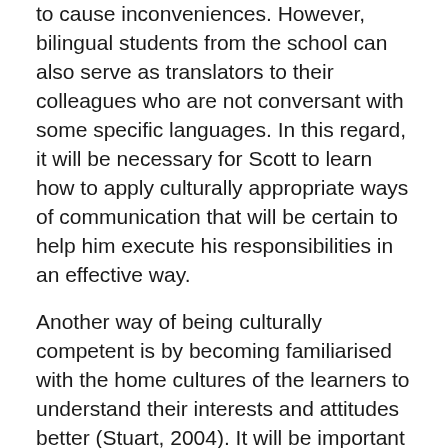to cause inconveniences. However, bilingual students from the school can also serve as translators to their colleagues who are not conversant with some specific languages. In this regard, it will be necessary for Scott to learn how to apply culturally appropriate ways of communication that will be certain to help him execute his responsibilities in an effective way.
Another way of being culturally competent is by becoming familiarised with the home cultures of the learners to understand their interests and attitudes better (Stuart, 2004). It will be important for anyone to consider paying attention to personal aspects such as discomforts and feelings when working with diverse people. One effective way of achieving this goal is by seeking the assistance of cultural leaders who can play a very active role in facilitating communication between service providers and diverse families. Students can also be asked to submit important information about their cultural norms and values, as